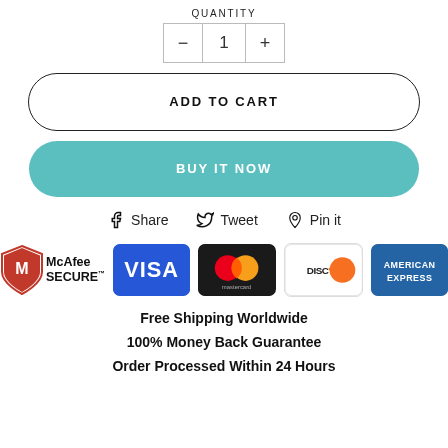QUANTITY
- 1 +
ADD TO CART
BUY IT NOW
Share  Tweet  Pin it
[Figure (infographic): Payment trust badges: McAfee SECURE, Visa, Mastercard, Discover, American Express]
Free Shipping Worldwide
100% Money Back Guarantee
Order Processed Within 24 Hours